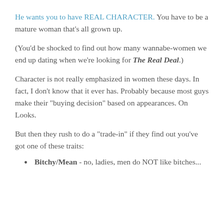He wants you to have REAL CHARACTER. You have to be a mature woman that's all grown up.
(You'd be shocked to find out how many wannabe-women we end up dating when we're looking for The Real Deal.)
Character is not really emphasized in women these days. In fact, I don't know that it ever has. Probably because most guys make their "buying decision" based on appearances. On Looks.
But then they rush to do a "trade-in" if they find out you've got one of these traits:
Bitchy/Mean - no, ladies, men do NOT like bitches...